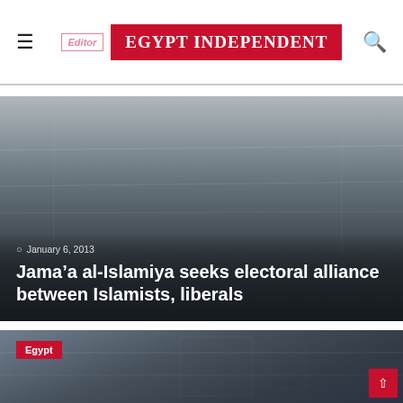EGYPT INDEPENDENT
[Figure (photo): Article hero image with dark gradient overlay showing article date and headline for Jama'a al-Islamiya article dated January 6, 2013]
Jama’a al-Islamiya seeks electoral alliance between Islamists, liberals
[Figure (photo): Second article teaser photo with Egypt category badge, showing Arabic street scene with dark blue-gray tones]